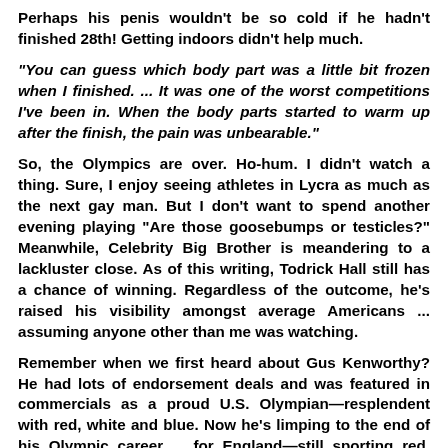Perhaps his penis wouldn't be so cold if he hadn't finished 28th! Getting indoors didn't help much.
"You can guess which body part was a little bit frozen when I finished. ... It was one of the worst competitions I've been in. When the body parts started to warm up after the finish, the pain was unbearable."
So, the Olympics are over. Ho-hum. I didn't watch a thing. Sure, I enjoy seeing athletes in Lycra as much as the next gay man. But I don't want to spend another evening playing "Are those goosebumps or testicles?" Meanwhile, Celebrity Big Brother is meandering to a lackluster close. As of this writing, Todrick Hall still has a chance of winning. Regardless of the outcome, he's raised his visibility amongst average Americans ... assuming anyone other than me was watching.
Remember when we first heard about Gus Kenworthy? He had lots of endorsement deals and was featured in commercials as a proud U.S. Olympian—resplendent with red, white and blue. Now he's limping to the end of his Olympic career ... for England—still sporting red, white and blue. Sure, he was born in England and is a credit to his sport. But, I dunno: I find it all just a bit